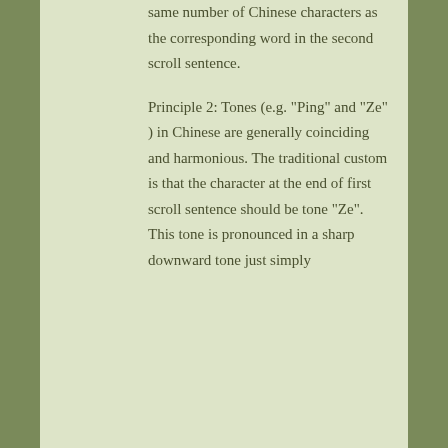same number of Chinese characters as the corresponding word in the second scroll sentence.
Principle 2: Tones (e.g. "Ping" and "Ze" ) in Chinese are generally coinciding and harmonious. The traditional custom is that the character at the end of first scroll sentence should be tone "Ze". This tone is pronounced in a sharp downward tone just simply